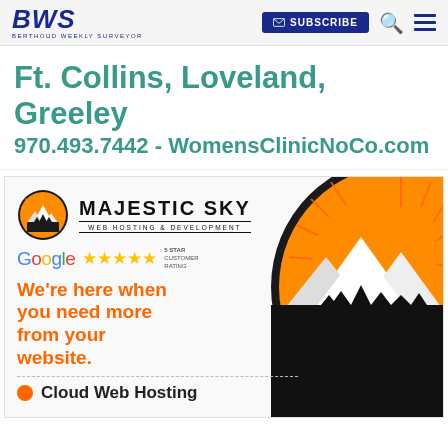BWS — Berthoud Weekly Surveyor — SUBSCRIBE — Search — Menu
[Figure (logo): BWS Berthoud Weekly Surveyor logo with blue bold italic letters and tagline]
Ft. Collins, Loveland, Greeley
970.493.7442 - WomensClinicNoCo.com
[Figure (logo): Majestic Sky Web Hosting & Development advertisement with mountain logo, Google 5-star rating, orange slogan 'We're here when you need more from your website.', and Cloud Web Hosting text]